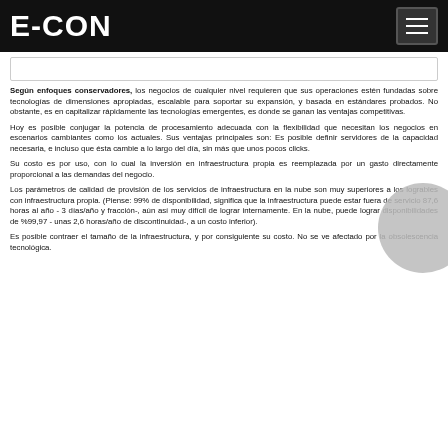E-CON
Según enfoques conservadores, los negocios de cualquier nivel requieren que sus operaciones estén fundadas sobre tecnologías de dimensiones apropiadas, escalable para soportar su expansión, y basada en estándares probados. No obstante, es en capitalizar rápidamente las tecnologías emergentes, es donde se ganan las ventajas competitivas.
Hoy es posible conjugar la potencia de procesamiento adecuada con la flexibilidad que necesitan los negocios en escenarios cambiantes como los actuales. Sus ventajas principales son: Es posible definir servidores de la capacidad necesaria, e incluso que ésta cambie a lo largo del día, sin más que unos pocos clicks.
Su costo es por uso, con lo cual la inversión en infraestructura propia es reemplazada por un gasto directamente proporcional a las demandas del negocio.
Los parámetros de calidad de provisión de los servicios de infraestructura en la nube son muy superiores a los logrables con infraestructura propia. (Piense: 99% de disponibilidad, significa que la infraestructura puede estar fuera de servicio 87,6 horas al año - 3 días/año y fracción-, aún así muy difícil de lograr internamente. En la nube, puede lograr disponibilidades de %99,97 - unas 2,6 horas/año de discontinuidad-, a un costo inferior).
Es posible contraer el tamaño de la infraestructura, y por consiguiente su costo. No se ve afectado por la obsolescencia tecnológica.